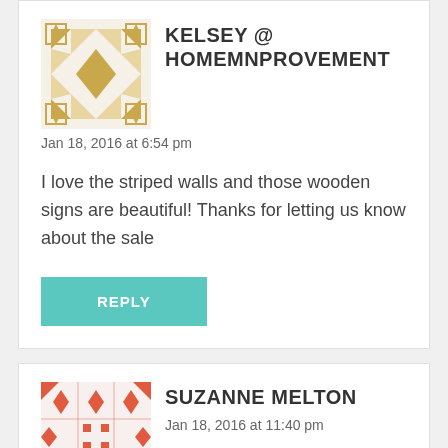[Figure (illustration): Gold/tan geometric quilt-pattern avatar icon for Kelsey @ Homemnprovement]
KELSEY @ HOMEMNPROVEMENT
Jan 18, 2016 at 6:54 pm
I love the striped walls and those wooden signs are beautiful! Thanks for letting us know about the sale
REPLY
[Figure (illustration): Red/coral geometric quilt-pattern avatar icon for Suzanne Melton]
SUZANNE MELTON
Jan 18, 2016 at 11:40 pm
I watch Downton Abbey in my office with the door closed so I'm not interrupted. When the